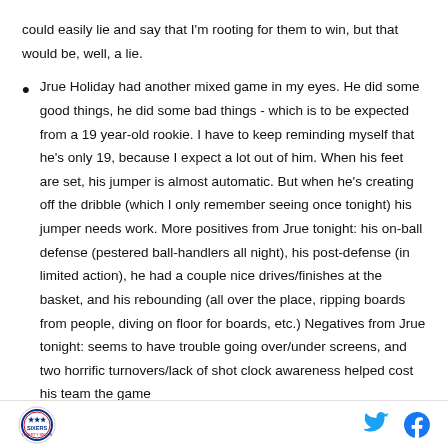could easily lie and say that I'm rooting for them to win, but that would be, well, a lie.
Jrue Holiday had another mixed game in my eyes. He did some good things, he did some bad things - which is to be expected from a 19 year-old rookie. I have to keep reminding myself that he's only 19, because I expect a lot out of him. When his feet are set, his jumper is almost automatic. But when he's creating off the dribble (which I only remember seeing once tonight) his jumper needs work. More positives from Jrue tonight: his on-ball defense (pestered ball-handlers all night), his post-defense (in limited action), he had a couple nice drives/finishes at the basket, and his rebounding (all over the place, ripping boards from people, diving on floor for boards, etc.) Negatives from Jrue tonight: seems to have trouble going over/under screens, and two horrific turnovers/lack of shot clock awareness helped cost his team the game.